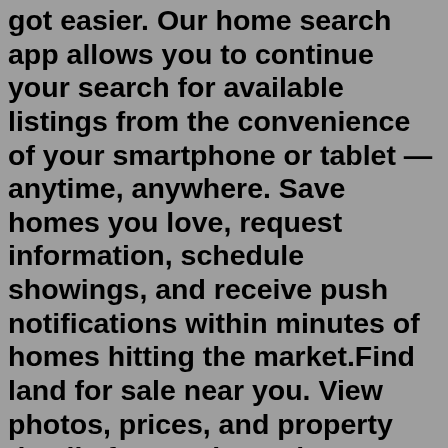got easier. Our home search app allows you to continue your search for available listings from the convenience of your smartphone or tablet — anytime, anywhere. Save homes you love, request information, schedule showings, and receive push notifications within minutes of homes hitting the market.Find land for sale near you. View photos, prices, and property details for nearby real estate. ... You can put your manufactured home/mobile home on it, NO HOA, 1 / ... View 297 mobile and manufactured homes for sale in Maine. Check ME real-estate inventory, browse property photos, and get listing information at realtor.com®. Choose your manufactured or modular home of 7 manufacturers, 531 home-models at an affordable price in California, Arizona, New Mexico, Oregon, Washington.BEAUTIFUL land and home. Close to Custer and Hot Springs. Come relax and watch the wildlife. Wide open spaces and big views! Nicely rolling hills & trees. Very near the Mickelson Trail that runs from Edgemont to Deadwood - great for hiking, biking, running! NO covenants to protect